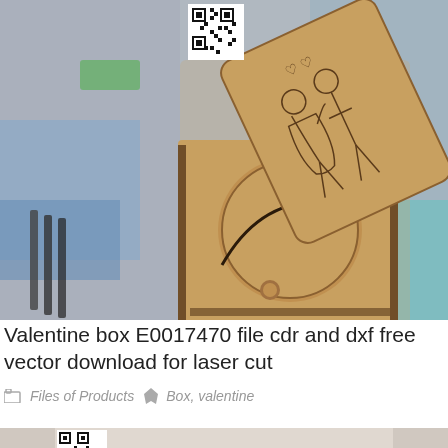[Figure (photo): Laser-cut wooden valentine box with engraved couple kissing design on lid, circular mechanism visible, photographed on a cluttered workbench with blue and green items in background. QR code visible in top-left corner of image.]
Valentine box E0017470 file cdr and dxf free vector download for laser cut
Files of Products   Box, valentine
[Figure (photo): Laser-cut wooden rounded box or container in yellow/natural wood, partially visible at bottom of page. QR code visible in top-left corner of image.]